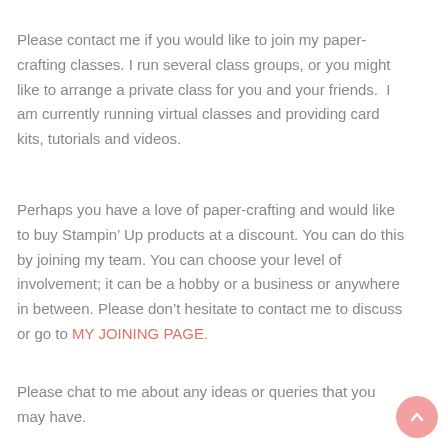Please contact me if you would like to join my paper-crafting classes. I run several class groups, or you might like to arrange a private class for you and your friends.  I am currently running virtual classes and providing card kits, tutorials and videos.
Perhaps you have a love of paper-crafting and would like to buy Stampin' Up products at a discount. You can do this by joining my team. You can choose your level of involvement; it can be a hobby or a business or anywhere in between. Please don't hesitate to contact me to discuss or go to MY JOINING PAGE.
Please chat to me about any ideas or queries that you may have.
Please feel free to use the examples for your own inspiration...